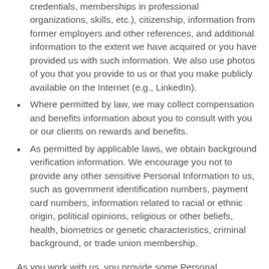credentials, memberships in professional organizations, skills, etc.), citizenship, information from former employers and other references, and additional information to the extent we have acquired or you have provided us with such information. We also use photos of you that you provide to us or that you make publicly available on the Internet (e.g., LinkedIn).
Where permitted by law, we may collect compensation and benefits information about you to consult with you or our clients on rewards and benefits.
As permitted by applicable laws, we obtain background verification information. We encourage you not to provide any other sensitive Personal Information to us, such as government identification numbers, payment card numbers, information related to racial or ethnic origin, political opinions, religious or other beliefs, health, biometrics or genetic characteristics, criminal background, or trade union membership.
As you work with us, you provide some Personal Information directly to us. We may collect Personal Information when you submit a resume, respond to employment opportunities, answer online assessment questions, provide information